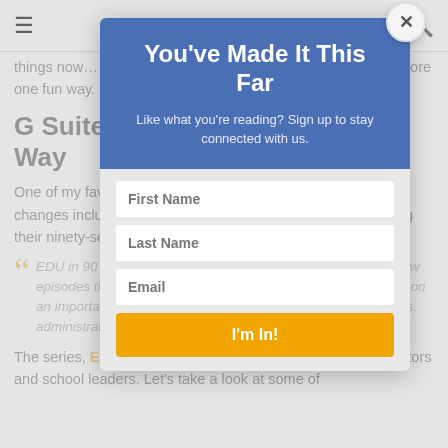≡  🔍
things now… Now do you stay informed and afloat? Let's explore one fun way.
G Suite EDU? Come Learn This Way
One of my favorite ways to keep up to date with G Suite EDU changes includes reading their blog. Another has me watching their ninety-second, short videos.
EDU in 90 is a video series from Google for Education, with new episodes three times each month. In each episode, they focus on an important topic. These videos provide updates for educators, administrators, and school leaders.
The series, EDU in 90, shares news and resources for educators and school leaders. Let's take a look at some of
[Figure (screenshot): Newsletter sign-up modal overlay with blue header reading 'You've Made It This Far', subtitle 'Like what you're reading? Sign up to stay connected with us.', form fields for First Name, Last Name, Email, and an orange 'I'm In!' submit button.]